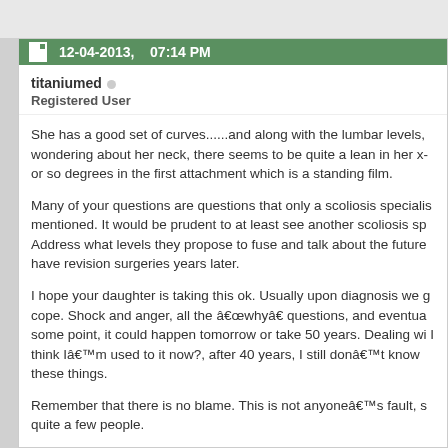12-04-2013,   07:14 PM
titaniumed  Registered User
She has a good set of curves......and along with the lumbar levels, wondering about her neck, there seems to be quite a lean in her x- or so degrees in the first attachment which is a standing film.
Many of your questions are questions that only a scoliosis speciali mentioned. It would be prudent to at least see another scoliosis sp Address what levels they propose to fuse and talk about the future have revision surgeries years later.
I hope your daughter is taking this ok. Usually upon diagnosis we g cope. Shock and anger, all the “why” questions, and eventua some point, it could happen tomorrow or take 50 years. Dealing wi I think I’m used to it now?, after 40 years, I still don’t know these things.
Remember that there is no blame. This is not anyone’s fault, s quite a few people.
How many scoliosis surgeons are in India? When you find out, let u there has to be more than a few.
Welcome to the forum